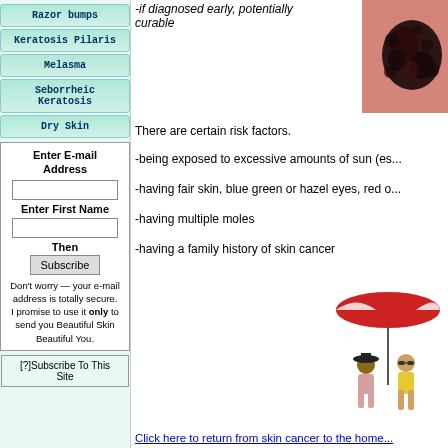Razor bumps
Keratosis Pilaris
Melasma
Seborrheic Keratosis
Dry Skin
Enter E-mail Address
Enter First Name
Then
Don't worry — your e-mail address is totally secure. I promise to use it only to send you Beautiful Skin Beautiful You.
[?]Subscribe To This Site
-if diagnosed early, potentially curable
[Figure (photo): Close-up photo of a melanoma skin lesion on skin — dark irregular pigmented lesion]
There are certain risk factors.
-being exposed to excessive amounts of sun (es...
-having fair skin, blue green or hazel eyes, red o...
-having multiple moles
-having a family history of skin cancer
[Figure (illustration): Cartoon illustration of two people sunbathing under a beach umbrella]
Click here to return from skin cancer to the home...